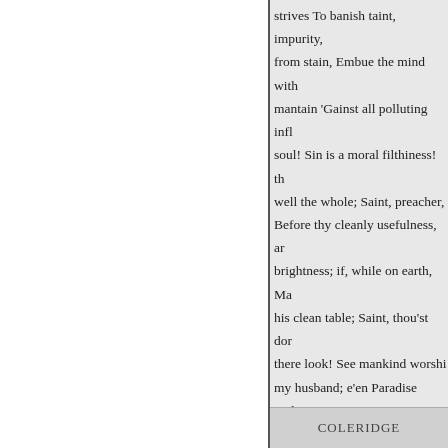strives To banish taint, impurity, from stain, Embue the mind with mantain 'Gainst all polluting infl soul! Sin is a moral filthiness! th well the whole; Saint, preacher, Before thy cleanly usefulness, ar brightness; if, while on earth, Ma his clean table; Saint, thou'st dor there look! See mankind worshi my husband; e'en Paradise witho him Would not be perfect; ope ag angels, better than erst the gods ( moods Are needless; has he not f enter Paradise! read in this book:
PROF. SAMUEL R. PERCY,
To Lucullus, the Patron Saint of enough to feed his Singers on Vi man who
COLERIDGE